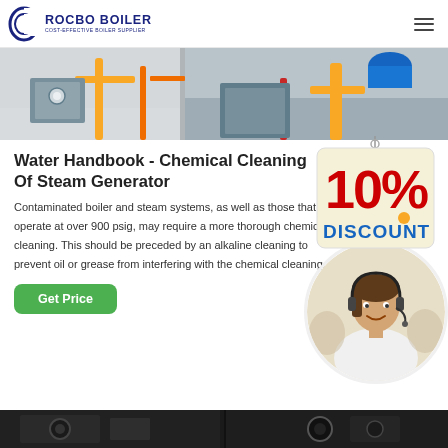ROCBO BOILER — COST-EFFECTIVE BOILER SUPPLIER
[Figure (photo): Industrial boiler room with yellow and red piping, two panels showing boiler equipment on grey floor]
Water Handbook - Chemical Cleaning Of Steam Generator
[Figure (illustration): 10% DISCOUNT badge/tag graphic in red and blue text on cream background with string]
Contaminated boiler and steam systems, as well as those that operate at over 900 psig, may require a more thorough chemical cleaning. This should be preceded by an alkaline cleaning to prevent oil or grease from interfering with the chemical cleaning.
[Figure (photo): Customer service representative woman with headset smiling, circular crop]
Get Price
[Figure (photo): Dark industrial machinery or boiler equipment, bottom strip]